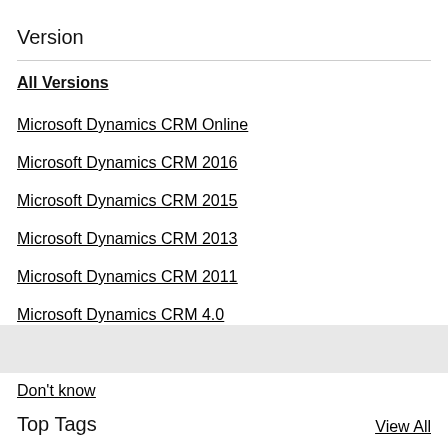Version
All Versions
Microsoft Dynamics CRM Online
Microsoft Dynamics CRM 2016
Microsoft Dynamics CRM 2015
Microsoft Dynamics CRM 2013
Microsoft Dynamics CRM 2011
Microsoft Dynamics CRM 4.0
Microsoft Dynamics CRM 3.0
Don't know
Top Tags
View All